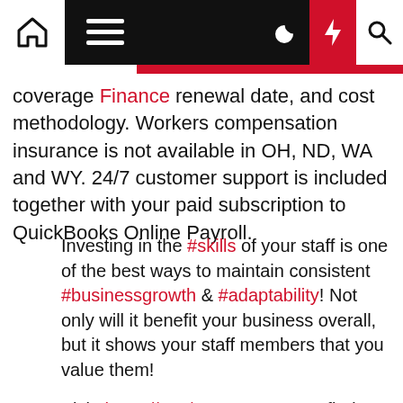Navigation bar with home, hamburger menu, moon, lightning, and search icons
coverage Finance renewal date, and cost methodology. Workers compensation insurance is not available in OH, ND, WA and WY. 24/7 customer support is included together with your paid subscription to QuickBooks Online Payroll.
Investing in the #skills of your staff is one of the best ways to maintain consistent #businessgrowth & #adaptability! Not only will it benefit your business overall, but it shows your staff members that you value them!

Visit: https://t.co/cT8KYTSuLX to find out how we can help

— D2N2 Skills Access Hub (@D2N2_SAH)
May 6, 2021